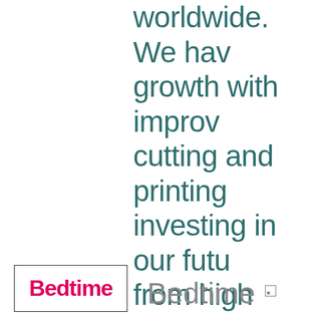worldwide. We have growth with improve cutting and printing investing in our futu from high quality 19 polyester sheets, a making stenciling a decorate. As we de ranges we will have and stick products t decor ideas.
[Figure (logo): Bedtime logo in pink/magenta bold text inside a rectangular border]
Bedtime